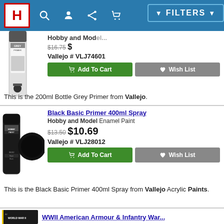H [navigation icons]
[Figure (screenshot): Grey Primer 200ml bottle product image]
Hobby and Mod... [title partial]
$16.75 $[price partially hidden by FILTERS button]
Vallejo # VLJ74601
Add To Cart | Wish List
This is the 200ml Bottle Grey Primer from Vallejo.
Black Basic Primer 400ml Spray
Hobby and Model Enamel Paint
$13.50 $10.69
Vallejo # VLJ28012
Add To Cart | Wish List
This is the Black Basic Primer 400ml Spray from Vallejo Acrylic Paints.
WWII American Armour & Infantry War...